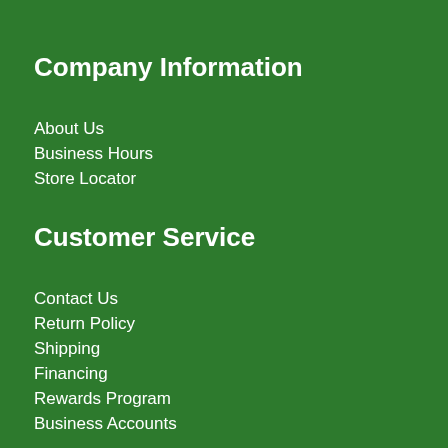Company Information
About Us
Business Hours
Store Locator
Customer Service
Contact Us
Return Policy
Shipping
Financing
Rewards Program
Business Accounts
Keep in Touch
Sign up for our newsletter and be the first to know about promotions, product launches and training opportunities